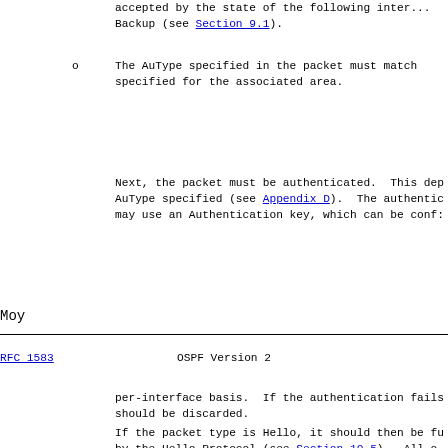accepted by the state of the following inter... Backup (see Section 9.1).
o  The AuType specified in the packet must match... specified for the associated area.
Next, the packet must be authenticated. This dep... AuType specified (see Appendix D). The authentic... may use an Authentication key, which can be conf...
Moy
RFC 1583                    OSPF Version 2
per-interface basis. If the authentication fails... should be discarded.
If the packet type is Hello, it should then be fu... by the Hello Protocol (see Section 10.5). All o... types are sent/received only on adjacencies. Thi... the packet must have been sent by one of the rout... neighbors. If the receiving interface is a multi... (either broadcast or non-broadcast) the sender is... the IP source address found in the packet's IP he... receiving interface is a point-to-point link or a...